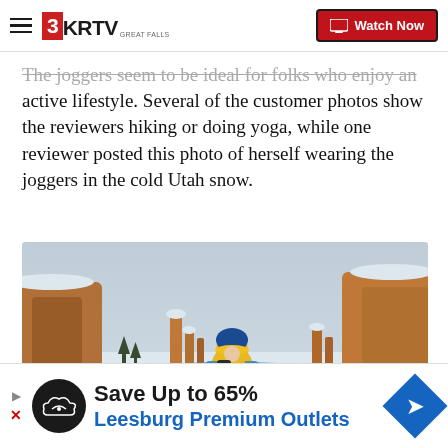3KRTV GREAT FALLS | Watch Now
The joggers seem to be ideal for folks who enjoy an active lifestyle. Several of the customer photos show the reviewers hiking or doing yoga, while one reviewer posted this photo of herself wearing the joggers in the cold Utah snow.
[Figure (photo): A person wearing a yellow and blue jacket with arms outstretched standing in snowy Bryce Canyon, Utah with red rock hoodoo formations in the background]
CLOSE
Save Up to 65% Leesburg Premium Outlets